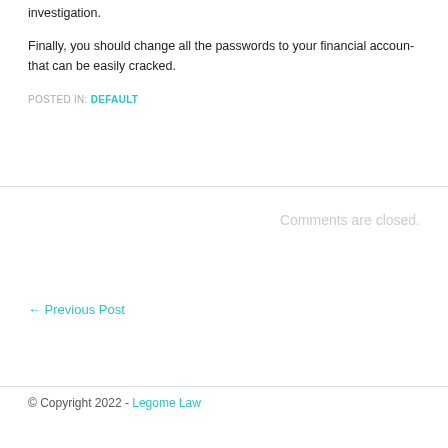investigation.
Finally, you should change all the passwords to your financial accounts that can be easily cracked.
POSTED IN: DEFAULT
Comments are closed.
← Previous Post
© Copyright 2022 - Legome Law